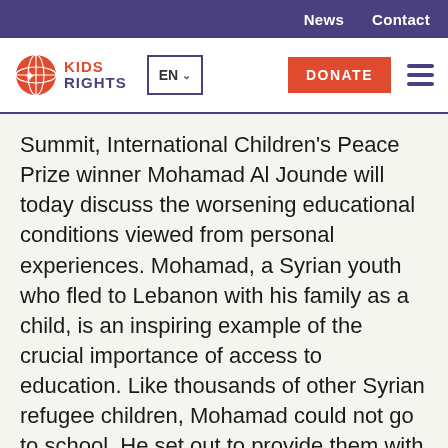News  Contact
[Figure (logo): KidsRights logo with globe icon and text KIDS RIGHTS, EN language selector, DONATE button, hamburger menu]
Summit, International Children's Peace Prize winner Mohamad Al Jounde will today discuss the worsening educational conditions viewed from personal experiences. Mohamad, a Syrian youth who fled to Lebanon with his family as a child, is an inspiring example of the crucial importance of access to education. Like thousands of other Syrian refugee children, Mohamad could not go to school. He set out to provide them with education himself by building a school in a refugee camp. This school now educates 200 children. Such positive initiatives will become fewer and fewer as underfunding and other educational barriers increase. The international donor community therefore owes it to Mohamad and an entire